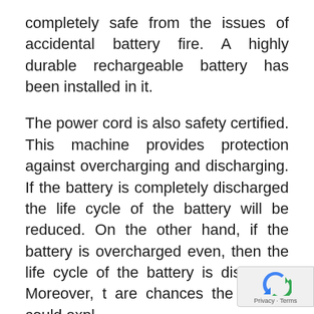completely safe from the issues of accidental battery fire. A highly durable rechargeable battery has been installed in it.
The power cord is also safety certified. This machine provides protection against overcharging and discharging. If the battery is completely discharged the life cycle of the battery will be reduced. On the other hand, if the battery is overcharged even, then the life cycle of the battery is disturbed. Moreover, t are chances the battery could expl